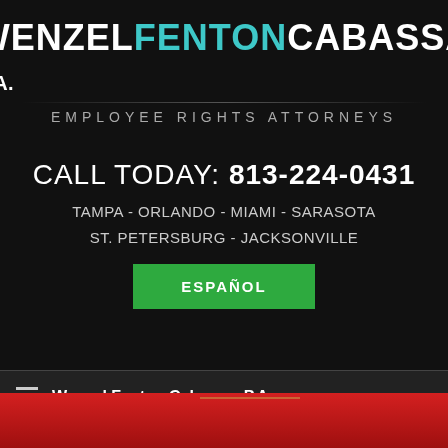WENZEL FENTON CABASSA P.A. — Employee Rights Attorneys
CALL TODAY: 813-224-0431
TAMPA - ORLANDO - MIAMI - SARASOTA
ST. PETERSBURG - JACKSONVILLE
ESPAÑOL
Wenzel Fenton Cabassa, P.A.
[Figure (photo): Lady Justice statue with blindfold and scales, in front of a red background]